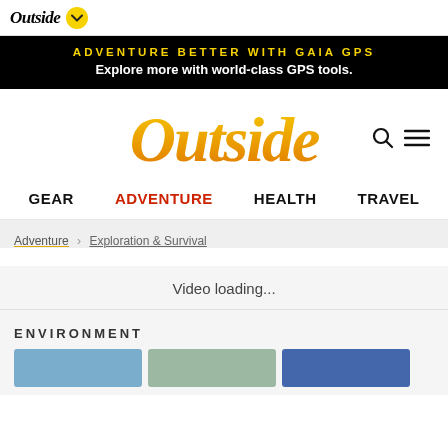Outside
ADVENTURE BETTER WITH GAIA GPS
Explore more with world-class GPS tools.
Outside
GEAR
ADVENTURE
HEALTH
TRAVEL
Adventure > Exploration & Survival
Video loading...
ENVIRONMENT